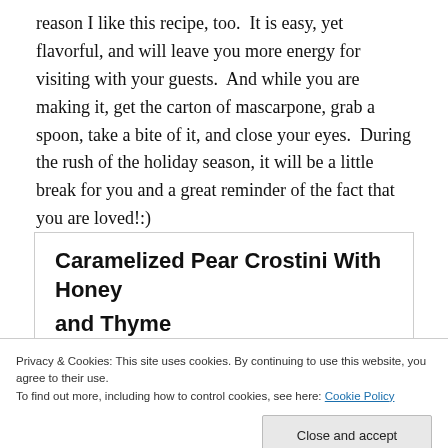reason I like this recipe, too.  It is easy, yet flavorful, and will leave you more energy for visiting with your guests.  And while you are making it, get the carton of mascarpone, grab a spoon, take a bite of it, and close your eyes.  During the rush of the holiday season, it will be a little break for you and a great reminder of the fact that you are loved!:)
Caramelized Pear Crostini With Honey and Thyme
Privacy & Cookies: This site uses cookies. By continuing to use this website, you agree to their use.
To find out more, including how to control cookies, see here: Cookie Policy
Close and accept